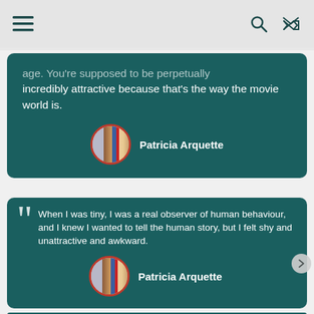≡ (menu icon), search icon, shuffle icon
age. You're supposed to be perpetually incredibly attractive because that's the way the movie world is.
Patricia Arquette
When I was tiny, I was a real observer of human behaviour, and I knew I wanted to tell the human story, but I felt shy and unattractive and awkward.
Patricia Arquette